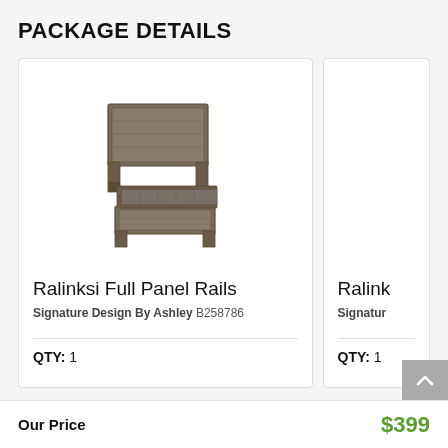PACKAGE DETAILS
[Figure (photo): Product photo of Ralinksi Full Panel Rails bed frame in rustic brown/gray finish, shown at an angle]
Ralinksi Full Panel Rails
Signature Design By Ashley B258786
QTY: 1
Ralink
Signatur
QTY: 1
Our Price
$399